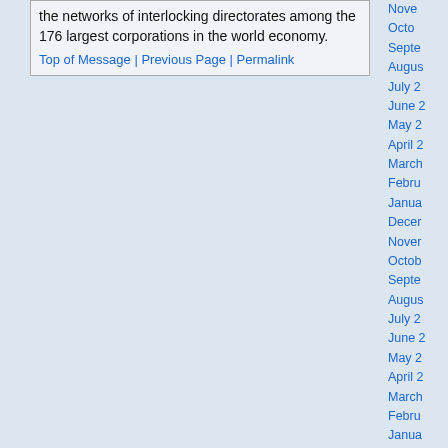the networks of interlocking directorates among the 176 largest corporations in the world economy.
Top of Message | Previous Page | Permalink
Nove
Octo
Septe
Augus
July 2
June 2
May 2
April 2
March
Febru
Janua
Decer
Nover
Octob
Septe
Augus
July 2
June 2
May 2
April 2
March
Febru
Janua
Decer
Nover
Octob
Septe
Augus
July 2
June 2
May 2
April 2
Mar